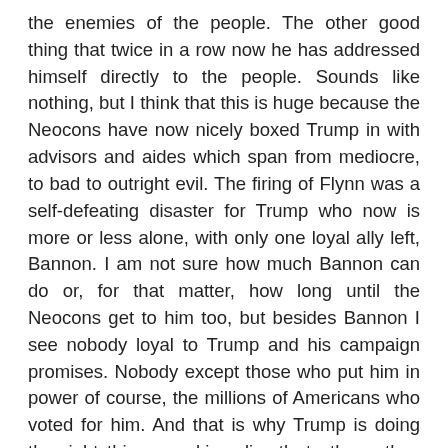the enemies of the people. The other good thing that twice in a row now he has addressed himself directly to the people. Sounds like nothing, but I think that this is huge because the Neocons have now nicely boxed Trump in with advisors and aides which span from mediocre, to bad to outright evil. The firing of Flynn was a self-defeating disaster for Trump who now is more or less alone, with only one loyal ally left, Bannon. I am not sure how much Bannon can do or, for that matter, how long until the Neocons get to him too, but besides Bannon I see nobody loyal to Trump and his campaign promises. Nobody except those who put him in power of course, the millions of Americans who voted for him. And that is why Trump is doing the right thing speaking directly to them: they might well turn out to be his biggest weapon against the “DC swamp”.
Furthermore, by beating on the media, especially CNN and the rest of the main US TV channels, Trump is pushing the US public to turn to other information sources, including those sympathetic to him, primarily on the Internet. Good move – that is how he won the first time around and that is how he might win again.